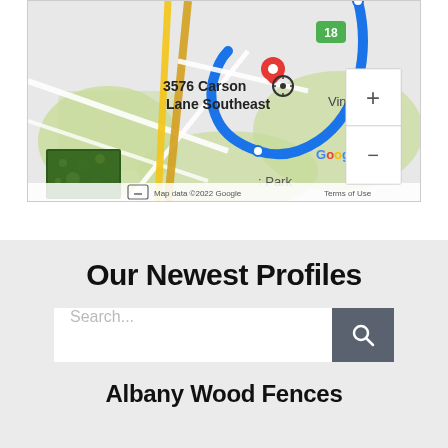[Figure (map): Google Maps screenshot showing 3576 Carson Lane Southeast location with a red pin marker, blue route line, zoom controls (+/-), satellite thumbnail, and map attribution 'Map data ©2022 Google' and 'Terms of Use']
Our Newest Profiles
Search...
Albany Wood Fences